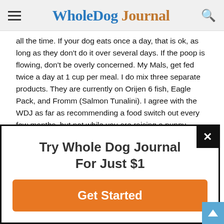Whole Dog Journal
all the time. If your dog eats once a day, that is ok, as long as they don't do it over several days. If the poop is flowing, don't be overly concerned. My Mals, get fed twice a day at 1 cup per meal. I do mix three separate products. They are currently on Orijen 6 fish, Eagle Pack, and Fromm (Salmon Tunalini). I agree with the WDJ as far as recommending a food switch out every few months, but not while you are raising a puppy during the first year. Good luck.
Reply
[Figure (screenshot): Modal popup overlay with text 'Try Whole Dog Journal For Just $1' and an orange 'Get Started' button, with a close (X) button in the top right corner.]